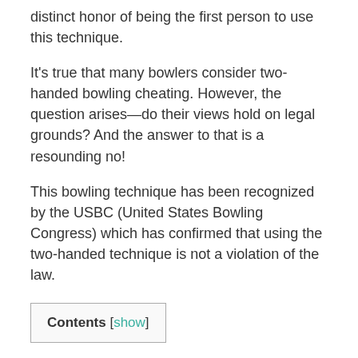distinct honor of being the first person to use this technique.
It’s true that many bowlers consider two-handed bowling cheating. However, the question arises—do their views hold on legal grounds? And the answer to that is a resounding no!
This bowling technique has been recognized by the USBC (United States Bowling Congress) which has confirmed that using the two-handed technique is not a violation of the law.
Contents [show]
What is The Two-Handed